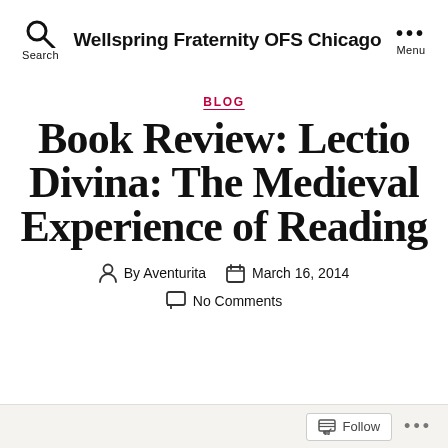Wellspring Fraternity OFS Chicago
BLOG
Book Review: Lectio Divina: The Medieval Experience of Reading
By Aventurita  March 16, 2014  No Comments